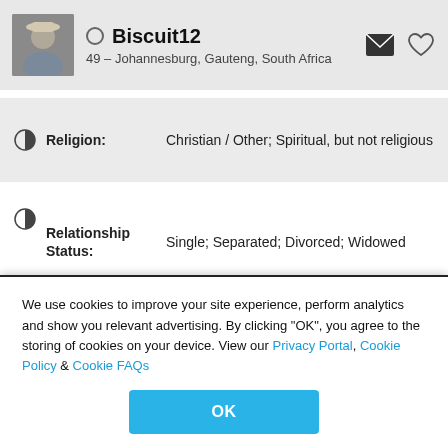Biscuit12 — 49 – Johannesburg, Gauteng, South Africa
Religion: Christian / Other; Spiritual, but not religious
Relationship Status: Single; Separated; Divorced; Widowed
Have Children: Yes, living with me sometimes
Want
We use cookies to improve your site experience, perform analytics and show you relevant advertising. By clicking "OK", you agree to the storing of cookies on your device. View our Privacy Portal, Cookie Policy & Cookie FAQs